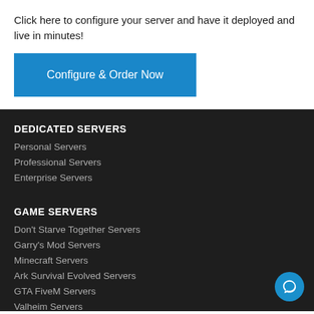Click here to configure your server and have it deployed and live in minutes!
[Figure (other): Blue 'Configure & Order Now' button]
DEDICATED SERVERS
Personal Servers
Professional Servers
Enterprise Servers
GAME SERVERS
Don't Starve Together Servers
Garry's Mod Servers
Minecraft Servers
Ark Survival Evolved Servers
GTA FiveM Servers
Valheim Servers